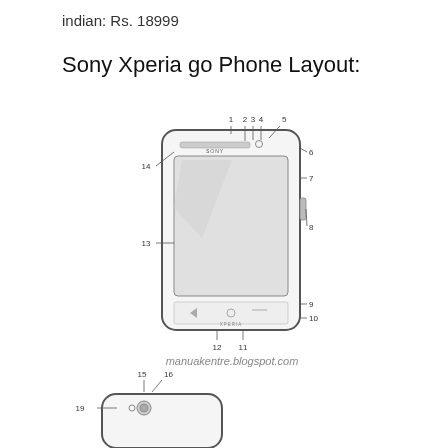indian: Rs. 18999
Sony Xperia go Phone Layout:
[Figure (engineering-diagram): Front view diagram of Sony Xperia go smartphone with numbered labels 1-14 pointing to various parts of the phone including buttons, speaker, screen, and connectors.]
manuakentre.blogspot.com
[Figure (engineering-diagram): Bottom/back view of Sony Xperia go showing labels 15, 16, 19 pointing to camera and connector area.]